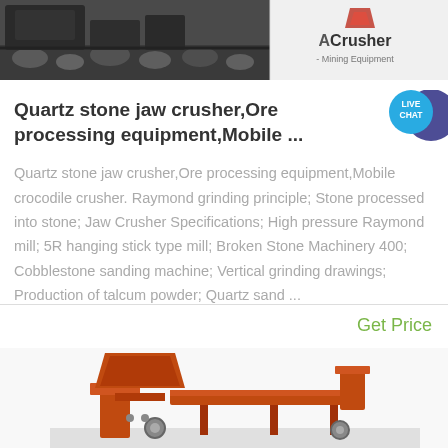[Figure (photo): Top banner ad with mining/crusher equipment photos on left and ACrusher Mining Equipment logo on right]
Quartz stone jaw crusher,Ore processing equipment,Mobile ...
Quartz stone jaw crusher,Ore processing equipment,Mobile crocodile crusher. Raymond grinding principle; Stone processed into stone; Jaw Crusher Specifications; High pressure Raymond mill; 5R hanging stick type mill; Broken Stone Machinery 400; Cobblestone sanding machine; Vertical grinding drawings; Production of talcum powder; Quartz sand ...
Get Price
[Figure (photo): Orange heavy mining/crushing machinery equipment at bottom of page]